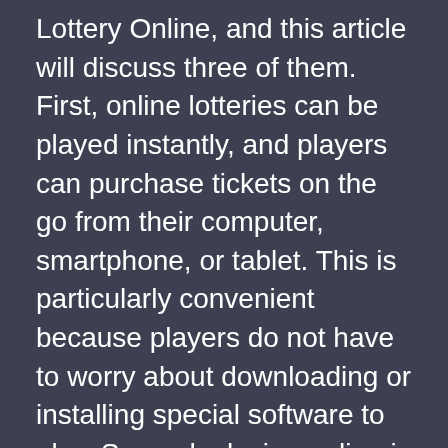Lottery Online, and this article will discuss three of them. First, online lotteries can be played instantly, and players can purchase tickets on the go from their computer, smartphone, or tablet. This is particularly convenient because players do not have to worry about downloading or installing special software to play. Second, playing online is much safer than playing in physical lotteries, and winnings are typically paid out immediately.
Another major benefit of online lottery websites is that you can easily check your winning